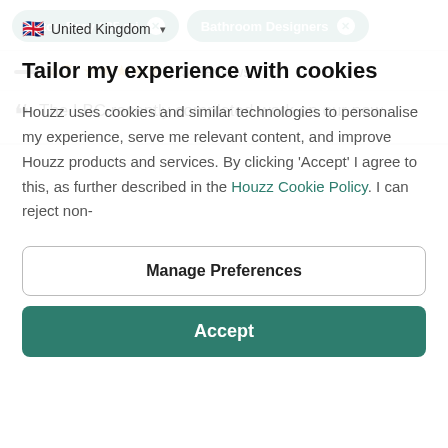Eaton Bray / 25 mi  ✕   Bathroom Designers  ✕
4.7 ★★★★★ 13 Reviews
❝  The LBC recently completed work on our new
🇬🇧 United Kingdom ▾
Tailor my experience with cookies
Houzz uses cookies and similar technologies to personalise my experience, serve me relevant content, and improve Houzz products and services. By clicking 'Accept' I agree to this, as further described in the Houzz Cookie Policy. I can reject non-
Manage Preferences
Accept